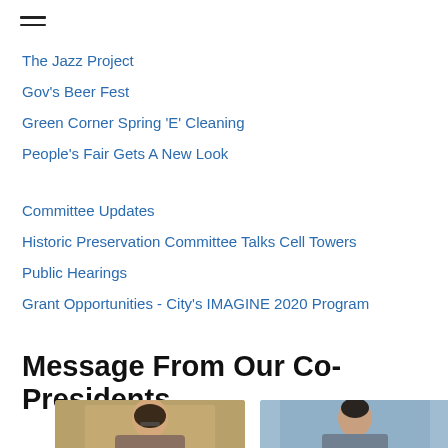The Jazz Project
Gov's Beer Fest
Green Corner Spring 'E' Cleaning
People's Fair Gets A New Look
Committee Updates
Historic Preservation Committee Talks Cell Towers
Public Hearings
Grant Opportunities - City's IMAGINE 2020 Program
Message From Our Co-Presidents
[Figure (photo): Photo of co-president on the left, man with glasses and brown hair against a golden building background]
[Figure (photo): Photo of co-president on the right, man with short dark hair against a light blue/sky background]